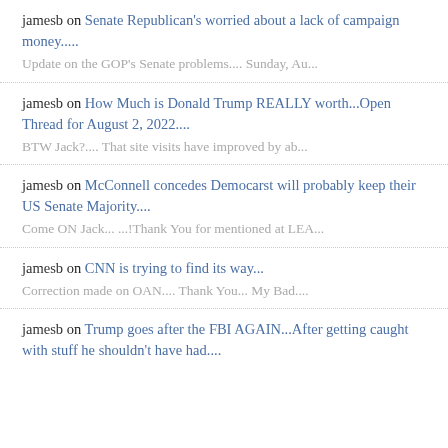jamesb on Senate Republican's worried about a lack of campaign money..... | Update on the GOP's Senate problems.... Sunday, Au...
jamesb on How Much is Donald Trump REALLY worth...Open Thread for August 2, 2022.... | BTW Jack?.... That site visits have improved by ab...
jamesb on McConnell concedes Democarst will probably keep their US Senate Majority.... | Come ON Jack... ...!Thank You for mentioned at LEA...
jamesb on CNN is trying to find its way... | Correction made on OAN.... Thank You... My Bad....
jamesb on Trump goes after the FBI AGAIN...After getting caught with stuff he shouldn't have had....